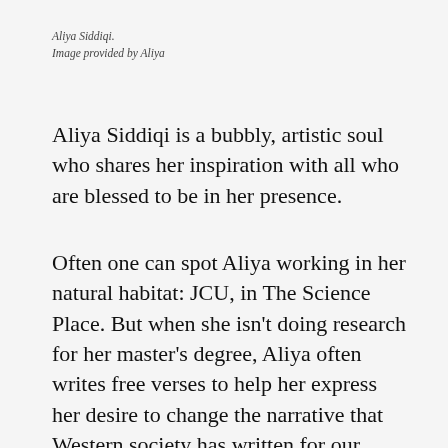Aliya Siddiqi.
Image provided by Aliya
Aliya Siddiqi is a bubbly, artistic soul who shares her inspiration with all who are blessed to be in her presence.
Often one can spot Aliya working in her natural habitat: JCU, in The Science Place. But when she isn't doing research for her master's degree, Aliya often writes free verses to help her express her desire to change the narrative that Western society has written for our planet. She is inspired to write about nature and her experiences within it. Here, she can create a space where she can delve into the deep recesses of her mind.